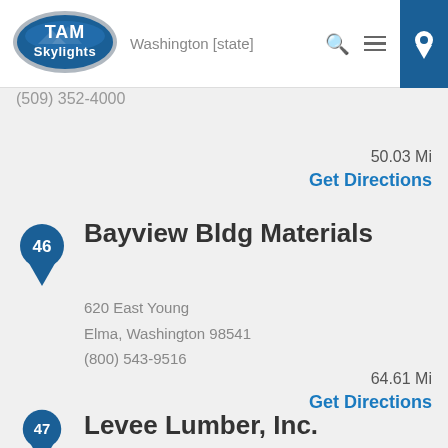TAM Skylights — Washington [partial address] — (509) 352-4000
50.03 Mi
Get Directions
Bayview Bldg Materials
620 East Young
Elma, Washington 98541
(800) 543-9516
64.61 Mi
Get Directions
Levee Lumber, Inc.